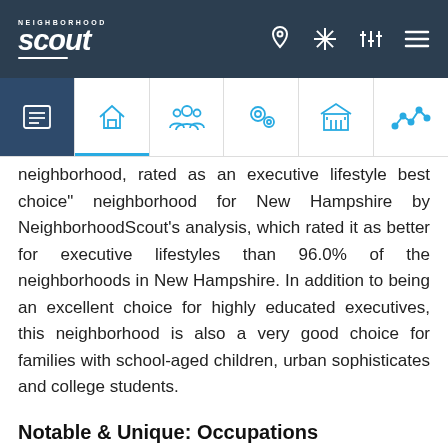Neighborhood Scout navigation header
neighborhood, rated as an executive lifestyle best choice" neighborhood for New Hampshire by NeighborhoodScout's analysis, which rated it as better for executive lifestyles than 96.0% of the neighborhoods in New Hampshire. In addition to being an excellent choice for highly educated executives, this neighborhood is also a very good choice for families with school-aged children, urban sophisticates and college students.
Notable & Unique: Occupations
The Durham South neighborhood has a higher